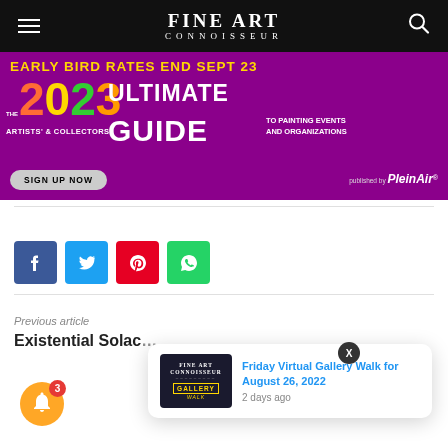FINE ART CONNOISSEUR
[Figure (infographic): Purple advertisement banner: EARLY BIRD RATES END SEPT 23 - The 2023 ULTIMATE GUIDE Artists' & Collectors' Guide to Painting Events and Organizations. Sign Up Now. Published by PleinAir.]
[Figure (infographic): Social media share buttons: Facebook (blue), Twitter (cyan), Pinterest (red), WhatsApp (green)]
Previous article
Existential Solac
[Figure (screenshot): Notification popup showing 'Friday Virtual Gallery Walk for August 26, 2022' with thumbnail image of Fine Art Connoisseur Gallery Walk, posted 2 days ago. X close button. Notification bell with badge 3.]